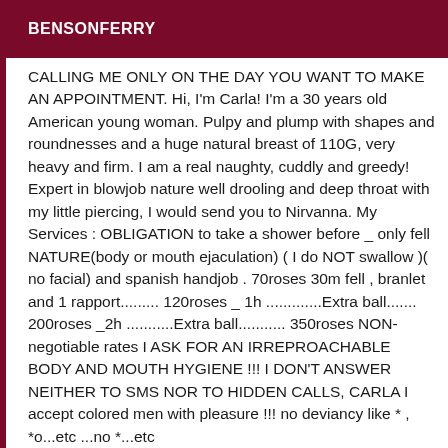BENSONFERRY
CALLING ME ONLY ON THE DAY YOU WANT TO MAKE AN APPOINTMENT. Hi, I'm Carla! I'm a 30 years old American young woman. Pulpy and plump with shapes and roundnesses and a huge natural breast of 110G, very heavy and firm. I am a real naughty, cuddly and greedy! Expert in blowjob nature well drooling and deep throat with my little piercing, I would send you to Nirvanna. My Services : OBLIGATION to take a shower before _ only fell NATURE(body or mouth ejaculation) ( I do NOT swallow )( no facial) and spanish handjob . 70roses 30m fell , branlet and 1 rapport......... 120roses _ 1h .............Extra ball....... 200roses _2h ...........Extra ball........... 350roses NON-negotiable rates I ASK FOR AN IRREPROACHABLE BODY AND MOUTH HYGIENE !!! I DON'T ANSWER NEITHER TO SMS NOR TO HIDDEN CALLS, CARLA I accept colored men with pleasure !!! no deviancy like * , *o...etc ...no *...etc